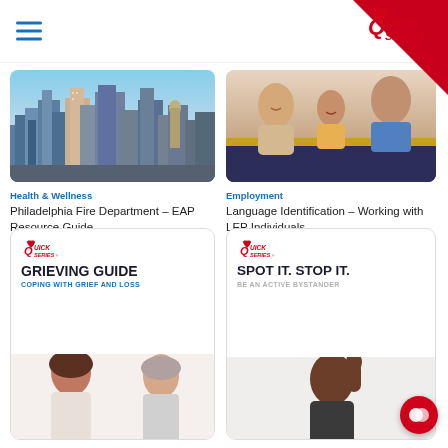Quick Series navigation header with hamburger menu and Quick Series logo
[Figure (screenshot): Philadelphia city skyline with skyscrapers and blue sky]
Health & Wellness
Philadelphia Fire Department – EAP Resource Guide
[Figure (photo): Group of people including woman and child smiling, dark navy background overlay]
Employment
Language Identification – Working with LEP Individuals
[Figure (screenshot): Quick Series Grieving Guide booklet cover - GRIEVING GUIDE COPING WITH GRIEF AND LOSS with two women]
[Figure (screenshot): Quick Series Spot It. Stop It. BE AN ACTIVE BYSTANDER booklet cover with man raising hand]